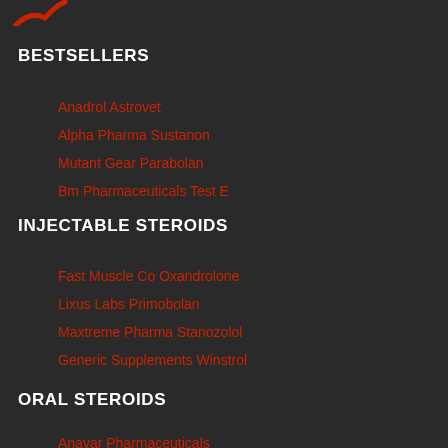[Figure (logo): Red logo mark partially visible at top left]
BESTSELLERS
Anadrol Astrovet
Alpha Pharma Sustanon
Mutant Gear Parabolan
Bm Pharmaceuticals Test E
INJECTABLE STEROIDS
Fast Muscle Co Oxandrolone
Lixus Labs Primobolan
Maxtreme Pharma Stanozolol
Generic Supplements Winstrol
ORAL STEROIDS
Anavar Pharmaceuticals (partial)